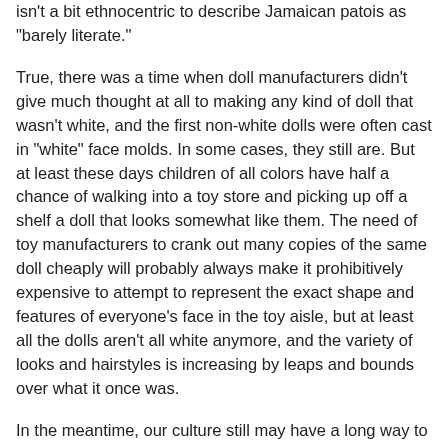isn't a bit ethnocentric to describe Jamaican patois as "barely literate."
True, there was a time when doll manufacturers didn't give much thought at all to making any kind of doll that wasn't white, and the first non-white dolls were often cast in "white" face molds. In some cases, they still are. But at least these days children of all colors have half a chance of walking into a toy store and picking up off a shelf a doll that looks somewhat like them. The need of toy manufacturers to crank out many copies of the same doll cheaply will probably always make it prohibitively expensive to attempt to represent the exact shape and features of everyone's face in the toy aisle, but at least all the dolls aren't all white anymore, and the variety of looks and hairstyles is increasing by leaps and bounds over what it once was.
In the meantime, our culture still may have a long way to go in convincing all kids that the white dolls are not the prettiest and best ones anyway. This 2007 study suggests we're not doing a much better job of that lately than we were in the 1940s: http://youtu.be/yhDa0qSuAcg